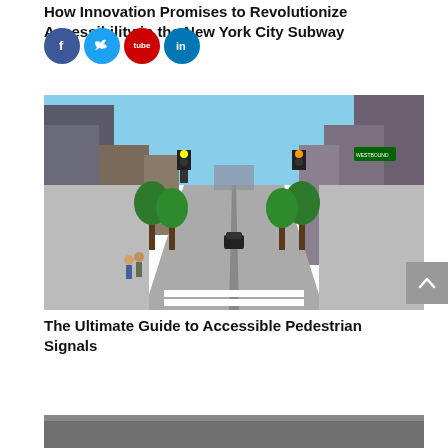How Innovation Promises to Revolutionize Accessibility in the New York City Subway
[Figure (other): Social media sharing icons: Facebook (blue circle with f), Twitter (light blue circle with bird), YouTube (red circle with play button labeled 'tube'), LinkedIn (blue circle with in)]
[Figure (photo): Street-level photo of a New York City avenue showing tall buildings on both sides, green trees lining the sidewalk, a crosswalk in the foreground, pedestrians crossing, traffic lights, street signs, and a car in the middle of the road under a blue sky.]
The Ultimate Guide to Accessible Pedestrian Signals
[Figure (photo): Partial bottom of another article image, appears dark gray/dark colored, just the top edge visible.]